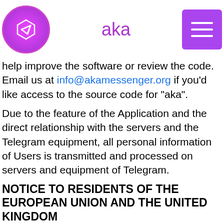aka
help improve the software or review the code. Email us at info@akamessenger.org if you'd like access to the source code for “aka”.
Due to the feature of the Application and the direct relationship with the servers and the Telegram equipment, all personal information of Users is transmitted and processed on servers and equipment of Telegram.
NOTICE TO RESIDENTS OF THE EUROPEAN UNION AND THE UNITED KINGDOM
All information that you submit to or through “aka” shall be provided by “aka” to Telegram insofar as “aka” is a tool for using Telegram. “aka” does not retain any of your information for any reason, except that certain